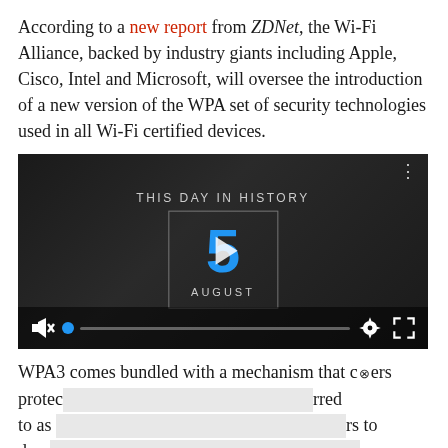According to a new report from ZDNet, the Wi-Fi Alliance, backed by industry giants including Apple, Cisco, Intel and Microsoft, will oversee the introduction of a new version of the WPA set of security technologies used in all Wi-Fi certified devices.
[Figure (screenshot): Embedded video player showing 'This Day In History' with the date August 5, shown in a dark overlay with play button, mute control, progress bar, settings and fullscreen icons.]
WPA3 comes bundled with a mechanism that offers protection... referred to as ... ers to desc...